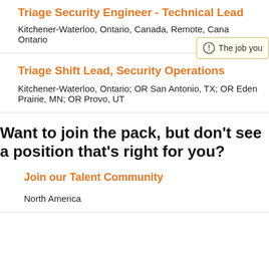Triage Security Engineer - Technical Lead
Kitchener-Waterloo, Ontario, Canada, Remote, Canada, Ontario
Triage Shift Lead, Security Operations
Kitchener-Waterloo, Ontario; OR San Antonio, TX; OR Eden Prairie, MN; OR Provo, UT
Want to join the pack, but don't see a position that's right for you?
Join our Talent Community
North America